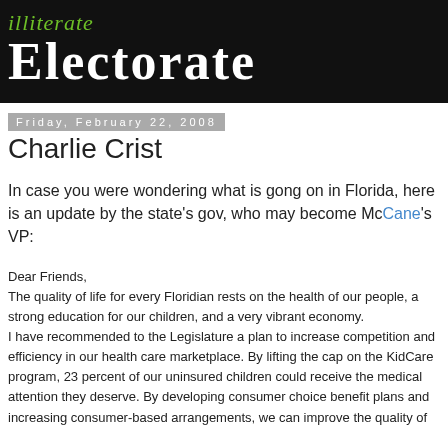illiterate Electorate
Friday, February 22, 2008
Charlie Crist
In case you were wondering what is gong on in Florida, here is an update by the state's gov, who may become McCane's VP:
Dear Friends,
The quality of life for every Floridian rests on the health of our people, a strong education for our children, and a very vibrant economy.
I have recommended to the Legislature a plan to increase competition and efficiency in our health care marketplace. By lifting the cap on the KidCare program, 23 percent of our uninsured children could receive the medical attention they deserve. By developing consumer choice benefit plans and increasing consumer-based arrangements, we can improve the quality of